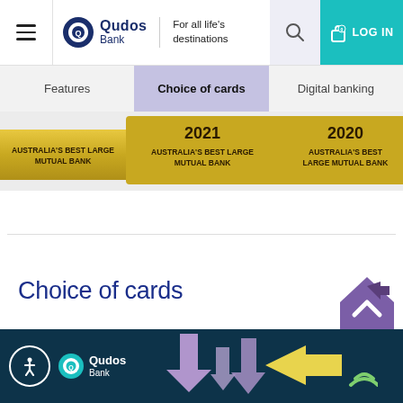[Figure (screenshot): Qudos Bank website header with hamburger menu, logo 'Qudos Bank - For all life's destinations', search icon, and teal LOG IN button]
Features
Choice of cards
Digital banking
[Figure (photo): Gold award banners reading 'AUSTRALIA'S BEST LARGE MUTUAL BANK' for years 2021 and 2020]
Choice of cards
[Figure (illustration): Qudos Bank card with coloured arrows (purple, yellow, green) on dark teal background with Qudos Bank logo and accessibility icon]